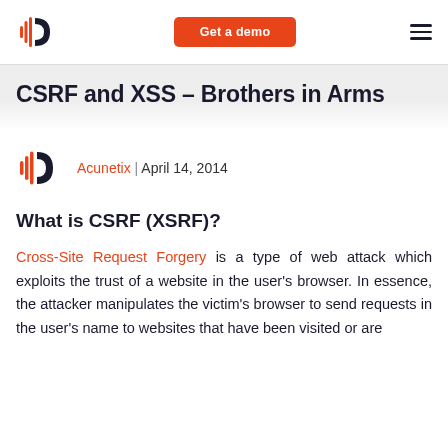Acunetix | Get a demo
CSRF and XSS – Brothers in Arms
Acunetix | April 14, 2014
What is CSRF (XSRF)?
Cross-Site Request Forgery is a type of web attack which exploits the trust of a website in the user's browser. In essence, the attacker manipulates the victim's browser to send requests in the user's name to websites that have been visited or are